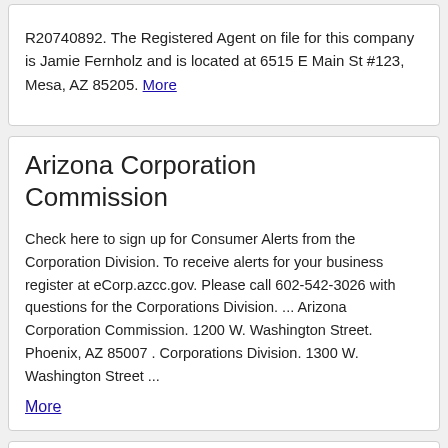R20740892. The Registered Agent on file for this company is Jamie Fernholz and is located at 6515 E Main St #123, Mesa, AZ 85205. More
Arizona Corporation Commission
Check here to sign up for Consumer Alerts from the Corporation Division. To receive alerts for your business register at eCorp.azcc.gov. Please call 602-542-3026 with questions for the Corporations Division. ... Arizona Corporation Commission. 1200 W. Washington Street. Phoenix, AZ 85007 . Corporations Division. 1300 W. Washington Street ... More
Arizona Corporation